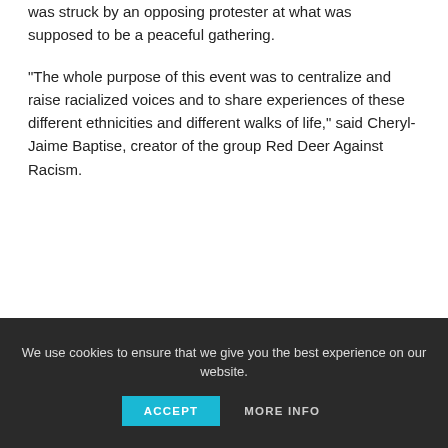was struck by an opposing protester at what was supposed to be a peaceful gathering.
“The whole purpose of this event was to centralize and raise racialized voices and to share experiences of these different ethnicities and different walks of life,” said Cheryl-Jaime Baptise, creator of the group Red Deer Against Racism.
We use cookies to ensure that we give you the best experience on our website.